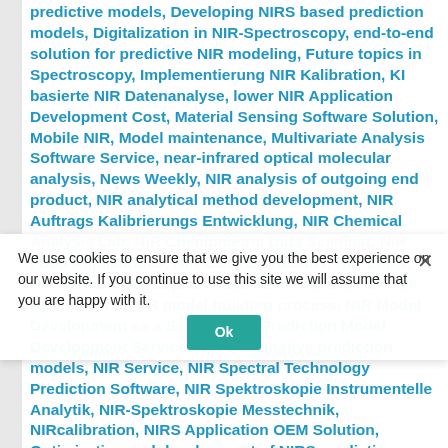predictive models, Developing NIRS based prediction models, Digitalization in NIR-Spectroscopy, end-to-end solution for predictive NIR modeling, Future topics in Spectroscopy, Implementierung NIR Kalibration, KI basierte NIR Datenanalyse, lower NIR Application Development Cost, Material Sensing Software Solution, Mobile NIR, Model maintenance, Multivariate Analysis Software Service, near-infrared optical molecular analysis, News Weekly, NIR analysis of outgoing end product, NIR analytical method development, NIR Auftrags Kalibrierungs Entwicklung, NIR Chemical Analysis Lab, NIR Chemometric Data Scientist, NIR Food Applications, NIR Lab Test Results, NIR Links, NIR Method Development and Maintenance, NIR Milk Applications, NIR model building process, NIR Model Development as a Service, NIR Prediction Model Development Service, NIR quantitative prediction models, NIR Service, NIR Spectral Technology Prediction Software, NIR Spektroskopie Instrumentelle Analytik, NIR-Spektroskopie Messtechnik, NIRcalibration, NIRS Application OEM Solution, Optimization and development of NIRS prediction models for NIR-based quality control, quantitative Analytical Method Development, visible and near-infrared spectroscopy (NIR) | Tagged #ChemistryLab #LabNIR #NIRLab, benchtop and micro NIR spectrometers, deployment of a NIR multivariate
We use cookies to ensure that we give you the best experience on our website. If you continue to use this site we will assume that you are happy with it.